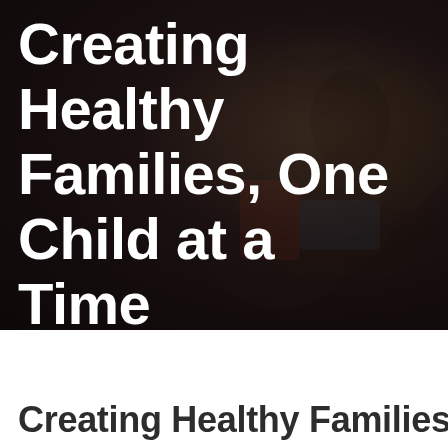[Figure (photo): Dark background photo of children/families in a classroom or activity setting, heavily darkened with low exposure]
Creating Healthy Families, One Child at a Time
Creating Healthy Families, One Chi...